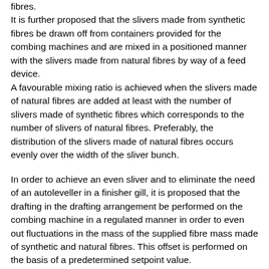fibres. It is further proposed that the slivers made from synthetic fibres be drawn off from containers provided for the combing machines and are mixed in a positioned manner with the slivers made from natural fibres by way of a feed device. A favourable mixing ratio is achieved when the slivers made of natural fibres are added at least with the number of slivers made of synthetic fibres which corresponds to the number of slivers of natural fibres. Preferably, the distribution of the slivers made of natural fibres occurs evenly over the width of the sliver bunch.
In order to achieve an even sliver and to eliminate the need of an autoleveller in a finisher gill, it is proposed that the drafting in the drafting arrangement be performed on the combing machine in a regulated manner in order to even out fluctuations in the mass of the supplied fibre mass made of synthetic and natural fibres. This offset is performed on the basis of a predetermined setpoint value. In order to achieve a homogeneous mixture, the fibre mixture to be admixed is supplied in the form of a fibre